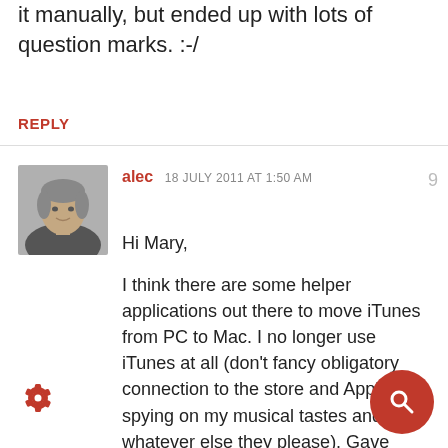it manually, but ended up with lots of question marks. :-/
REPLY
alec  18 JULY 2011 AT 1:50 AM
[Figure (photo): Profile photo of commenter alec, a middle-aged man with short gray hair, smiling slightly, wearing a dark jacket]
Hi Mary,

I think there are some helper applications out there to move iTunes from PC to Mac. I no longer use iTunes at all (don't fancy obligatory connection to the store and Apple spying on my musical tastes and or whatever else they please). Gave away my iPhone 3GS as well.

What really bothered me is that Apple deliberately sabotaged cross version library compatibility (I would be